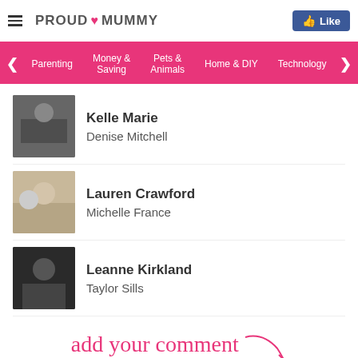PROUD MUMMY
Parenting | Money & Saving | Pets & Animals | Home & DIY | Technology
Kelle Marie / Denise Mitchell
Lauren Crawford / Michelle France
Leanne Kirkland / Taylor Sills
add your comment
Share on Facebook | Save